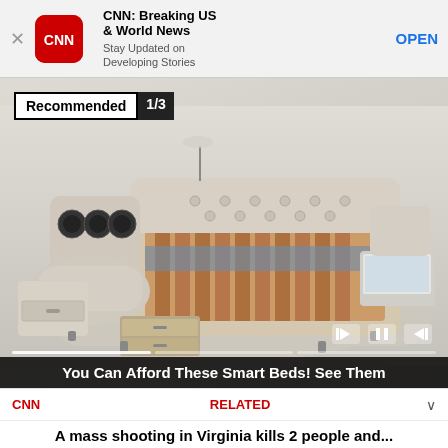[Figure (screenshot): CNN app banner ad with CNN logo, title 'CNN: Breaking US & World News', subtitle 'Stay Updated on Developing Stories', and OPEN button]
[Figure (photo): Smart/luxury bed with multiple features including massage chairs, storage drawers, speakers, and a laptop holder. Overlay shows 'Recommended 1/3' badge and media playback controls. Caption reads 'You Can Afford These Smart Beds! See Them']
A mass shooting in Virginia kills 2 people and...